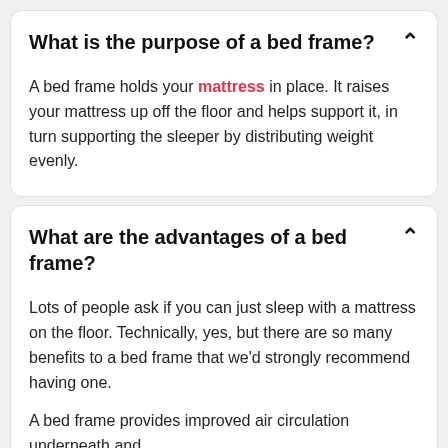What is the purpose of a bed frame?
A bed frame holds your mattress in place. It raises your mattress up off the floor and helps support it, in turn supporting the sleeper by distributing weight evenly.
What are the advantages of a bed frame?
Lots of people ask if you can just sleep with a mattress on the floor. Technically, yes, but there are so many benefits to a bed frame that we'd strongly recommend having one.
A bed frame provides improved air circulation underneath and